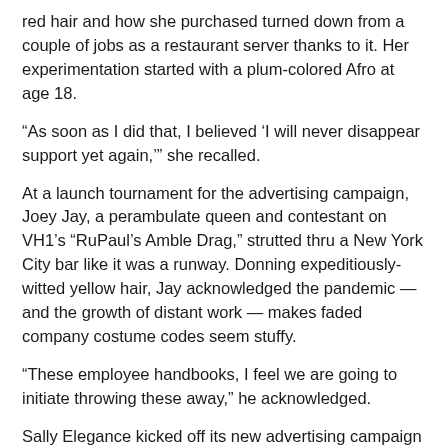red hair and how she purchased turned down from a couple of jobs as a restaurant server thanks to it. Her experimentation started with a plum-colored Afro at age 18.
“As soon as I did that, I believed ‘I will never disappear support yet again,’” she recalled.
At a launch tournament for the advertising campaign, Joey Jay, a perambulate queen and contestant on VH1’s “RuPaul’s Amble Drag,” strutted thru a New York City bar like it was a runway. Donning expeditiously-witted yellow hair, Jay acknowledged the pandemic — and the growth of distant work — makes faded company costume codes seem stuffy.
“These employee handbooks, I feel we are going to initiate throwing these away,” he acknowledged.
Sally Elegance kicked off its new advertising campaign with a launch occasion in New York City. It featured Joey Jay, a perambulate